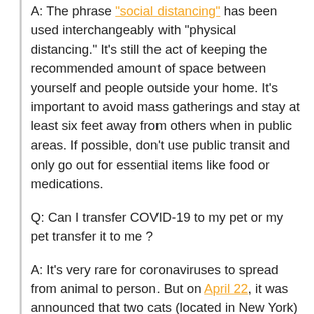A: The phrase "social distancing" has been used interchangeably with "physical distancing." It's still the act of keeping the recommended amount of space between yourself and people outside your home. It's important to avoid mass gatherings and stay at least six feet away from others when in public areas. If possible, don't use public transit and only go out for essential items like food or medications.
Q: Can I transfer COVID-19 to my pet or my pet transfer it to me ?
A: It's very rare for coronaviruses to spread from animal to person. But on April 22, it was announced that two cats (located in New York) tested positive for COVID-19. Previously, the CDC had been notified of a small number of cases outside of the United States. Viral transmission between humans and animals is still under investigation. As a precaution, people who are infected or suspect they're infected should avoid contact with